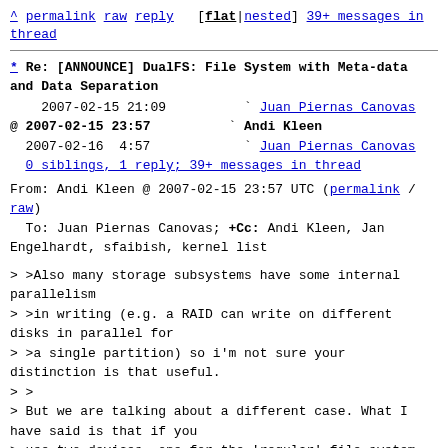^ permalink raw reply [flat|nested] 39+ messages in thread
* Re: [ANNOUNCE] DualFS: File System with Meta-data and Data Separation
2007-02-15 21:09          ` Juan Piernas Canovas
@ 2007-02-15 23:57          ` Andi Kleen
  2007-02-16  4:57            ` Juan Piernas Canovas
0 siblings, 1 reply; 39+ messages in thread
From: Andi Kleen @ 2007-02-15 23:57 UTC (permalink / raw)
  To: Juan Piernas Canovas; +Cc: Andi Kleen, Jan Engelhardt, sfaibish, kernel list
> >Also many storage subsystems have some internal parallelism
> >in writing (e.g. a RAID can write on different disks in parallel for
> >a single partition) so i'm not sure your distinction is that useful.
> >
> But we are talking about a different case. What I have said is that if you
> use two devices, one for the 'regular' file system and another one for the
> log, DualFS is better in that case because it can use the log for reads.
> Other journaling file systems can not do that.